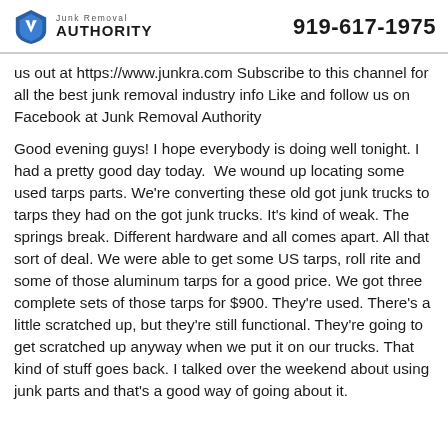Junk Removal AUTHORITY | 919-617-1975
us out at https://www.junkra.com Subscribe to this channel for all the best junk removal industry info Like and follow us on Facebook at Junk Removal Authority
Good evening guys! I hope everybody is doing well tonight. I had a pretty good day today.  We wound up locating some used tarps parts. We're converting these old got junk trucks to tarps they had on the got junk trucks. It's kind of weak. The springs break. Different hardware and all comes apart. All that sort of deal. We were able to get some US tarps, roll rite and some of those aluminum tarps for a good price. We got three complete sets of those tarps for $900. They're used. There's a little scratched up, but they're still functional. They're going to get scratched up anyway when we put it on our trucks. That kind of stuff goes back. I talked over the weekend about using junk parts and that's a good way of going about it.